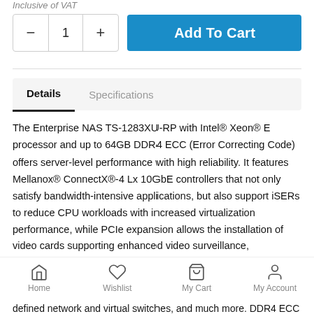Inclusive of VAT
[Figure (screenshot): Quantity selector with minus and plus buttons showing value 1, and a blue Add To Cart button]
Details | Specifications (tabs)
The Enterprise NAS TS-1283XU-RP with Intel® Xeon® E processor and up to 64GB DDR4 ECC (Error Correcting Code) offers server-level performance with high reliability. It features Mellanox® ConnectX®-4 Lx 10GbE controllers that not only satisfy bandwidth-intensive applications, but also support iSERs to reduce CPU workloads with increased virtualization performance, while PCIe expansion allows the installation of video cards supporting enhanced video surveillance, virtualization and AI applications .
[Figure (screenshot): Bottom navigation bar with Home, Wishlist, My Cart, My Account icons]
defined network and virtual switches, and much more. DDR4 ECC